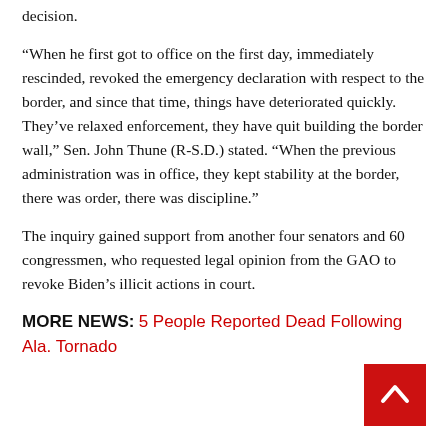decision.
“When he first got to office on the first day, immediately rescinded, revoked the emergency declaration with respect to the border, and since that time, things have deteriorated quickly. They’ve relaxed enforcement, they have quit building the border wall,” Sen. John Thune (R-S.D.) stated. “When the previous administration was in office, they kept stability at the border, there was order, there was discipline.”
The inquiry gained support from another four senators and 60 congressmen, who requested legal opinion from the GAO to revoke Biden’s illicit actions in court.
MORE NEWS: 5 People Reported Dead Following Ala. Tornado
[Figure (other): Red scroll-to-top button with upward chevron arrow in bottom right corner]